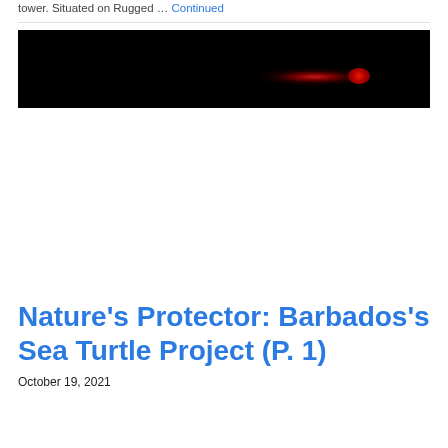tower. Situated on Rugged … Continued
[Figure (photo): Dark background photo with a red glowing light/eye visible on the right side, against a black background with dark reddish tones.]
Nature's Protector: Barbados's Sea Turtle Project (P. 1)
October 19, 2021